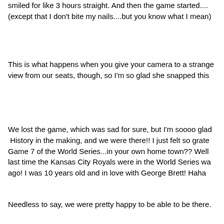smiled for like 3 hours straight.  And then the game started.... (except that I don't bite my nails....but you know what I mean)
This is what happens when you give your camera to a stranger. Great view from our seats, though, so I'm so glad she snapped this
We lost the game, which was sad for sure, but I'm soooo glad we went.  History in the making, and we were there!!  I just felt so grateful to be at Game 7 of the World Series...in your own home town??  Well, consider that the last time the Kansas City Royals were in the World Series was 30 years ago!  I was 10 years old and in love with George Brett!  Haha!
Needless to say, we were pretty happy to be able to be there.